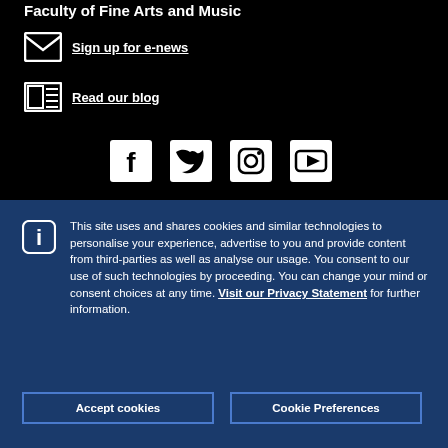Faculty of Fine Arts and Music
Sign up for e-news
Read our blog
[Figure (infographic): Social media icons: Facebook, Twitter, Instagram, YouTube]
This site uses and shares cookies and similar technologies to personalise your experience, advertise to you and provide content from third-parties as well as analyse our usage. You consent to our use of such technologies by proceeding. You can change your mind or consent choices at any time. Visit our Privacy Statement for further information.
Accept cookies
Cookie Preferences